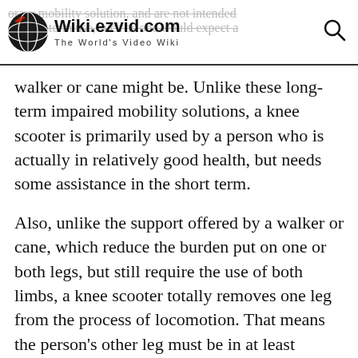Wiki.ezvid.com — The World's Video Wiki
walker or cane might be. Unlike these long-term impaired mobility solutions, a knee scooter is primarily used by a person who is actually in relatively good health, but needs some assistance in the short term.
Also, unlike the support offered by a walker or cane, which reduce the burden put on one or both legs, but still require the use of both limbs, a knee scooter totally removes one leg from the process of locomotion. That means the person's other leg must be in at least relatively good health, as it will be responsible for the person's balance and propulsion. Use of a knee scooter also requires at least moderate core strength and fine motor control, which makes